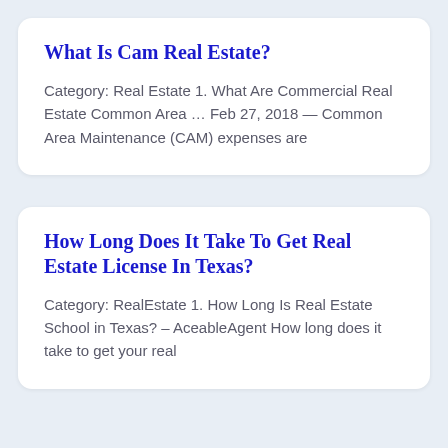What Is Cam Real Estate?
Category: Real Estate 1. What Are Commercial Real Estate Common Area … Feb 27, 2018 — Common Area Maintenance (CAM) expenses are
How Long Does It Take To Get Real Estate License In Texas?
Category: RealEstate 1. How Long Is Real Estate School in Texas? – AceableAgent How long does it take to get your real